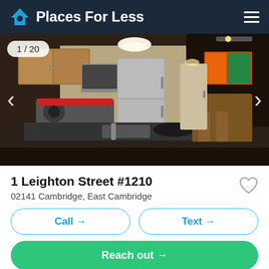Places For Less
[Figure (photo): Interior photo of a modern apartment kitchen with stainless steel appliances, dark granite countertops, wood cabinetry, and a dining area in the background. Counter shows sink, stove, microwave, refrigerator. Image counter shows 1/20.]
1 Leighton Street #1210
02141 Cambridge, East Cambridge
Call →
Text →
Reach out →